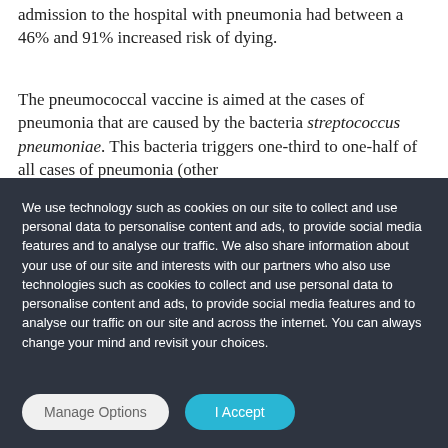admission to the hospital with pneumonia had between a 46% and 91% increased risk of dying.
The pneumococcal vaccine is aimed at the cases of pneumonia that are caused by the bacteria streptococcus pneumoniae. This bacteria triggers one-third to one-half of all cases of pneumonia (other
We use technology such as cookies on our site to collect and use personal data to personalise content and ads, to provide social media features and to analyse our traffic. We also share information about your use of our site and interests with our partners who also use technologies such as cookies to collect and use personal data to personalise content and ads, to provide social media features and to analyse our traffic on our site and across the internet. You can always change your mind and revisit your choices.